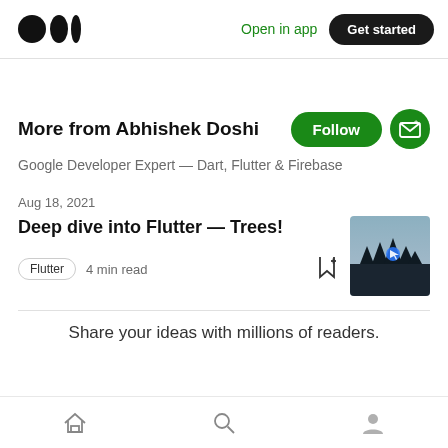Medium logo | Open in app | Get started
More from Abhishek Doshi
Google Developer Expert — Dart, Flutter & Firebase
Aug 18, 2021
Deep dive into Flutter — Trees!
Flutter  4 min read
[Figure (photo): Article thumbnail: dark misty forest/mountain scene with a blue cursor icon]
Share your ideas with millions of readers.